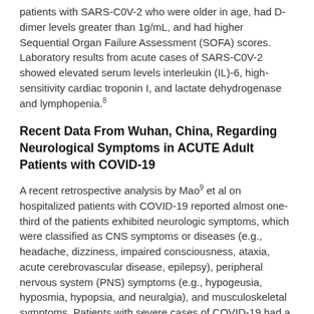patients with SARS-C0V-2 who were older in age, had D-dimer levels greater than 1g/mL, and had higher Sequential Organ Failure Assessment (SOFA) scores. Laboratory results from acute cases of SARS-C0V-2 showed elevated serum levels interleukin (IL)-6, high-sensitivity cardiac troponin I, and lactate dehydrogenase and lymphopenia.8
Recent Data From Wuhan, China, Regarding Neurological Symptoms in ACUTE Adult Patients with COVID-19
A recent retrospective analysis by Mao9 et al on hospitalized patients with COVID-19 reported almost one-third of the patients exhibited neurologic symptoms, which were classified as CNS symptoms or diseases (e.g., headache, dizziness, impaired consciousness, ataxia, acute cerebrovascular disease, epilepsy), peripheral nervous system (PNS) symptoms (e.g., hypogeusia, hyposmia, hypopsia, and neuralgia), and musculoskeletal symptoms. Patients with severe cases of COVID-19 had a higher rate of acute cerebrovascular diseases, consciousness impairment, and musculoskeletal symptoms compared to less severe cases.  Headache and dizziness were the most common complaints in patients with CNS symptoms. Hypogeusia and hyposmia were the most common complaints in patients with PNS symptoms. The investigators also reported lower